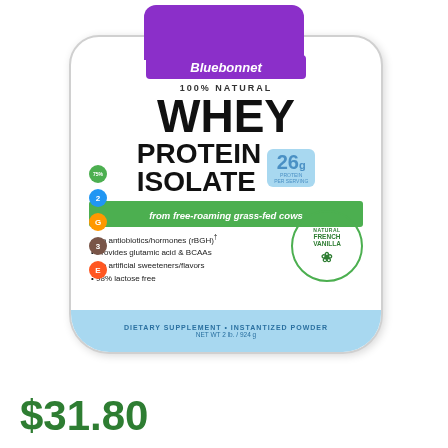[Figure (photo): Bluebonnet 100% Natural Whey Protein Isolate supplement container with purple cap and white label, French Vanilla flavor, showing product details including 26g protein per serving, from free-roaming grass-fed cows, no antibiotics/hormones (rBGH), provides glutamic acid & BCAAs, no artificial sweeteners/flavors, 98% lactose free. Net wt 2 lb / 924g.]
$31.80